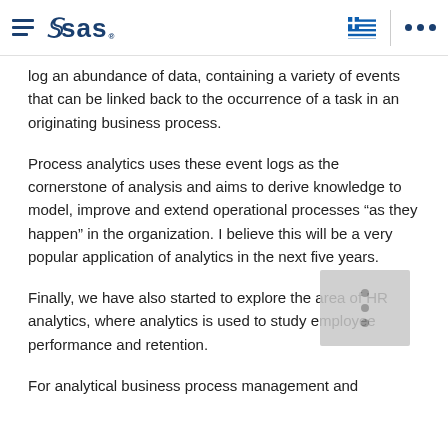SAS
log an abundance of data, containing a variety of events that can be linked back to the occurrence of a task in an originating business process.
Process analytics uses these event logs as the cornerstone of analysis and aims to derive knowledge to model, improve and extend operational processes “as they happen” in the organization. I believe this will be a very popular application of analytics in the next five years.
Finally, we have also started to explore the area of HR analytics, where analytics is used to study employee performance and retention.
For analytical business process management and